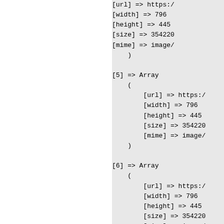[url] => https:/
        [width] => 796
        [height] => 445
        [size] => 354220
        [mime] => image/
    )

[5] => Array
    (
        [url] => https:/
        [width] => 796
        [height] => 445
        [size] => 354220
        [mime] => image/
    )

[6] => Array
    (
        [url] => https:/
        [width] => 796
        [height] => 445
        [size] => 354220
        [mime] => image/
    )

[7] => Array
    (
        [url] => https:/
        [width] => 796
        [height] => 445